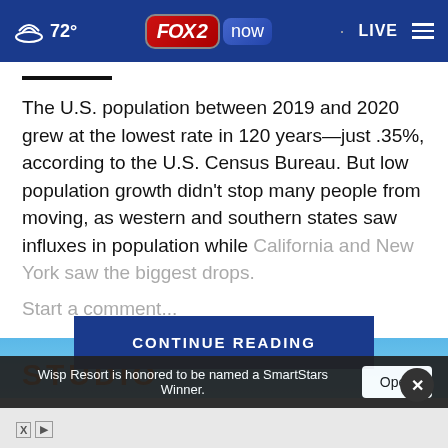72° FOX 2 now LIVE
The U.S. population between 2019 and 2020 grew at the lowest rate in 120 years—just .35%, according to the U.S. Census Bureau. But low population growth didn't stop many people from moving, as western and southern states saw influxes in population while California and New York saw the biggest drops.